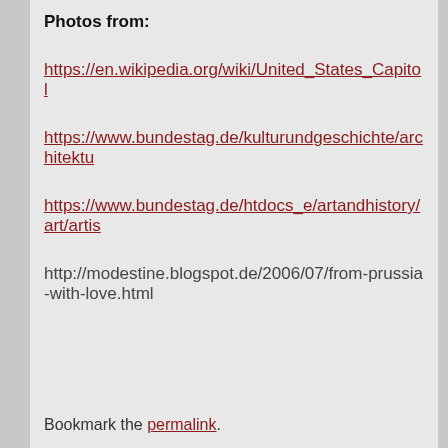Photos from:
https://en.wikipedia.org/wiki/United_States_Capitol
https://www.bundestag.de/kulturundgeschichte/architektu
https://www.bundestag.de/htdocs_e/artandhistory/art/artis
http://modestine.blogspot.de/2006/07/from-prussia-with-love.html
Bookmark the permalink.